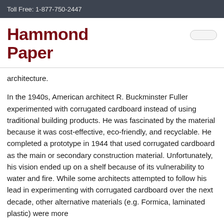Toll Free: 1-877-750-2447
Hammond Paper
architecture.
In the 1940s, American architect R. Buckminster Fuller experimented with corrugated cardboard instead of using traditional building products. He was fascinated by the material because it was cost-effective, eco-friendly, and recyclable. He completed a prototype in 1944 that used corrugated cardboard as the main or secondary construction material. Unfortunately, his vision ended up on a shelf because of its vulnerability to water and fire. While some architects attempted to follow his lead in experimenting with corrugated cardboard over the next decade, other alternative materials (e.g. Formica, laminated plastic) were more